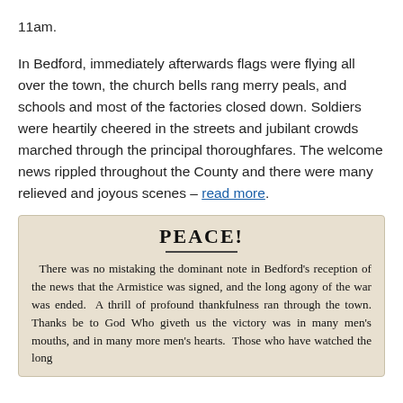11am.
In Bedford, immediately afterwards flags were flying all over the town, the church bells rang merry peals, and schools and most of the factories closed down. Soldiers were heartily cheered in the streets and jubilant crowds marched through the principal thoroughfares. The welcome news rippled throughout the County and there were many relieved and joyous scenes – read more.
[Figure (photo): Scanned newspaper clipping with heading PEACE! followed by text about Bedford's reception of the Armistice news.]